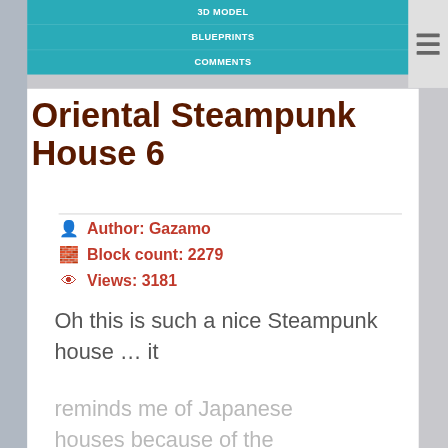3D MODEL
BLUEPRINTS
COMMENTS
Oriental Steampunk House 6
Author: Gazamo
Block count: 2279
Views: 3181
Oh this is such a nice Steampunk house … it reminds me of Japanese houses because of the